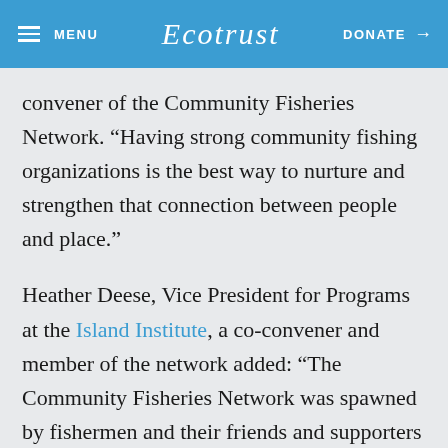MENU | Ecotrust | DONATE →
convener of the Community Fisheries Network. “Having strong community fishing organizations is the best way to nurture and strengthen that connection between people and place.”
Heather Deese, Vice President for Programs at the Island Institute, a co-convener and member of the network added: “The Community Fisheries Network was spawned by fishermen and their friends and supporters